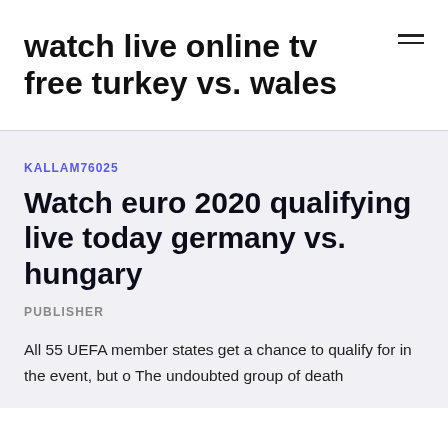watch live online tv free turkey vs. wales
KALLAM76025
Watch euro 2020 qualifying live today germany vs. hungary
PUBLISHER
All 55 UEFA member states get a chance to qualify for in the event, but o The undoubted group of death